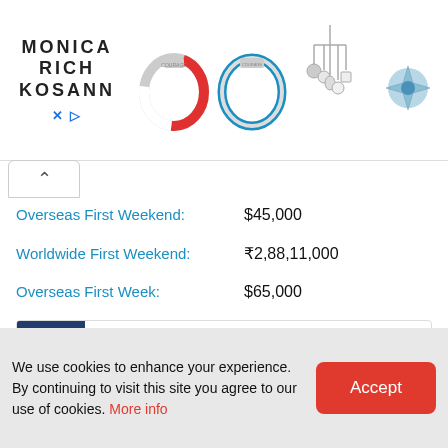[Figure (photo): Advertisement banner for Monica Rich Kosann jewelry brand showing logo on left and jewelry items (bracelets, charms, earrings, star brooch, bangle) on right, with close and play icons at bottom left.]
Overseas First Weekend: $45,000
Worldwide First Weekend: ₹2,88,11,000
Overseas First Week: $65,000
Worldwide First Week: ₹4,05,42,500
CAST & CREDITS
Production Banner: Eros International | Rahul Theatres International
Om Puri
We use cookies to enhance your experience. By continuing to visit this site you agree to our use of cookies. More info